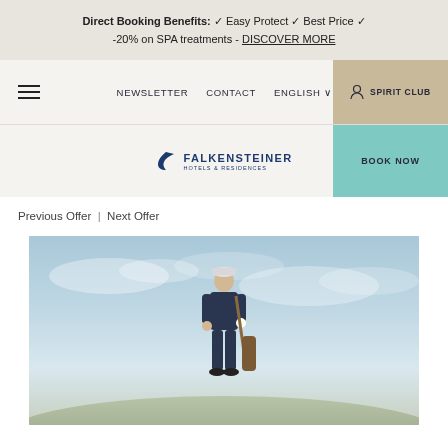Direct Booking Benefits: ✓ Easy Protect ✓ Best Price ✓ -20% on SPA treatments - DISCOVER MORE
NEWSLETTER   CONTACT   ENGLISH ∨   SPIRIT CLUB
[Figure (logo): Falkensteiner Hotels & Residences logo with bird icon, BOOK NOW button]
Previous Offer  |  Next Offer
[Figure (photo): A golfer standing outdoors carrying golf equipment, wearing a cap and dark jacket, against a cloudy sky background]